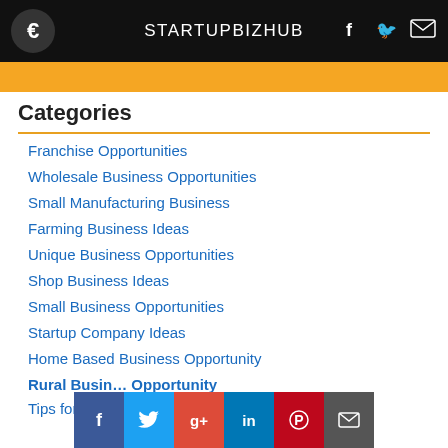STARTUPBIZHUB
Categories
Franchise Opportunities
Wholesale Business Opportunities
Small Manufacturing Business
Farming Business Ideas
Unique Business Opportunities
Shop Business Ideas
Small Business Opportunities
Startup Company Ideas
Home Based Business Opportunity
Rural Business Opportunity
Tips for Rural Business...